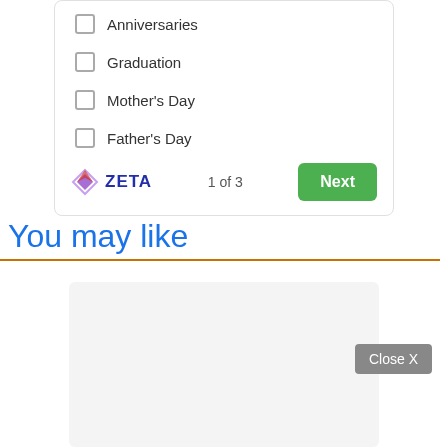Anniversaries
Graduation
Mother's Day
Father's Day
[Figure (logo): Zeta logo with diamond icon and text ZETA in blue]
1 of 3
Next
You may like
[Figure (other): Gray ad placeholder box with a Close X button]